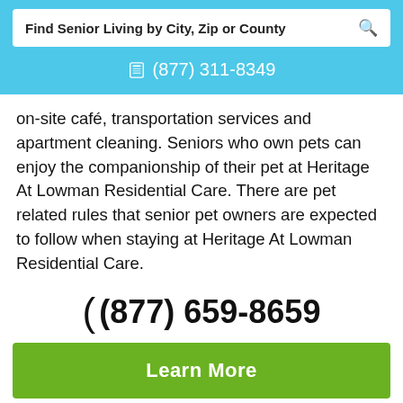Find Senior Living by City, Zip or County
(877) 311-8349
on-site café, transportation services and apartment cleaning. Seniors who own pets can enjoy the companionship of their pet at Heritage At Lowman Residential Care. There are pet related rules that senior pet owners are expected to follow when staying at Heritage At Lowman Residential Care.
(877) 659-8659
Learn More
View Pricing & Availability